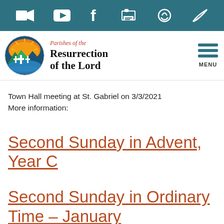Navigation bar with icons: video camera, play, facebook, email, link, share
[Figure (logo): Parishes of the Resurrection of the Lord logo with circular emblem showing crosses and landscape]
Parishes of the
Resurrection
of the Lord
Town Hall meeting at St. Gabriel on 3/3/2021
More information:
Second Sunday in Advent, Year C
Second Sunday in Ordinary Time – January